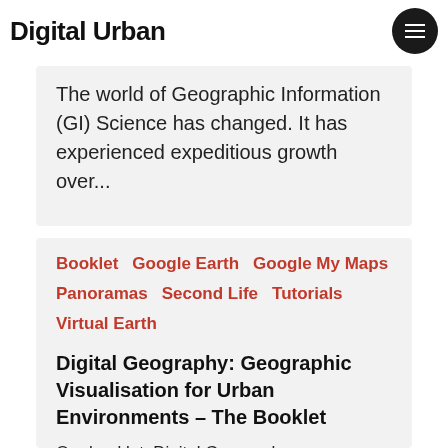Digital Urban
The world of Geographic Information (GI) Science has changed. It has experienced expeditious growth over...
Booklet
Google Earth
Google My Maps
Panoramas
Second Life
Tutorials
Virtual Earth
Digital Geography: Geographic Visualisation for Urban Environments – The Booklet
Our booklet: Digital Geography-